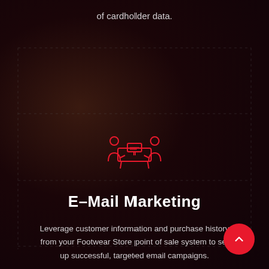of cardholder data.
[Figure (illustration): Red outline icon of two people sitting across a table, representing email marketing or meeting/communication concept]
E-Mail Marketing
Leverage customer information and purchase history from your Footwear Store point of sale system to set up successful, targeted email campaigns.